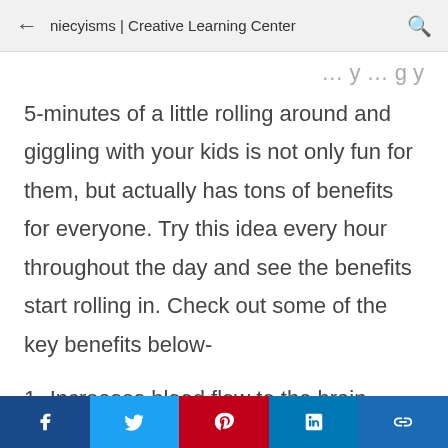niecyisms | Creative Learning Center
5-minutes of a little rolling around and giggling with your kids is not only fun for them, but actually has tons of benefits for everyone. Try this idea every hour throughout the day and see the benefits start rolling in. Check out some of the key benefits below-
1- Increases blood flow to the brain which
f  [twitter]  [pinterest]  in  [link]